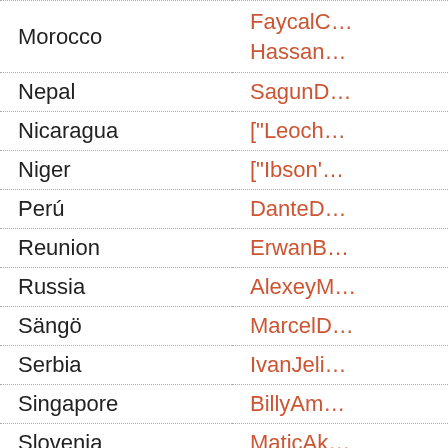| Country | Value |
| --- | --- |
| Morocco | FaycalC… / Hassan… |
| Nepal | SagunD… |
| Nicaragua | ["Leoch… |
| Niger | ["Ibson'… |
| Perú | DanteD… |
| Reunion | ErwanB… |
| Russia | AlexeyM… |
| Sängö | MarcelD… |
| Serbia | IvanJeli… |
| Singapore | BillyAm… |
| Slovenia | MaticAk… |
| Spain | GatoLol… |
| Sri Lanka | None at… |
| Switzerland | Hassan… |
| Thai | ["Guma… |
| Tunisia | KarimFa… |
| Turkey | Soon |
| Ukraine | IvanChe… |